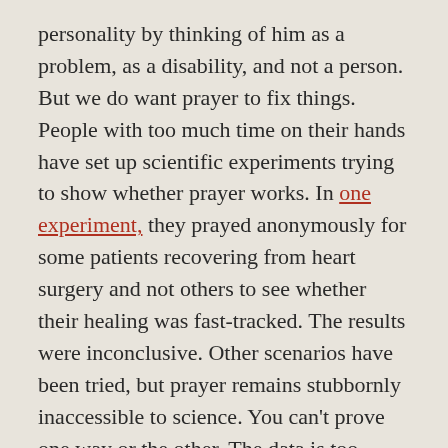personality by thinking of him as a problem, as a disability, and not a person. But we do want prayer to fix things. People with too much time on their hands have set up scientific experiments trying to show whether prayer works. In one experiment, they prayed anonymously for some patients recovering from heart surgery and not others to see whether their healing was fast-tracked. The results were inconclusive. Other scenarios have been tried, but prayer remains stubbornly inaccessible to science. You can't prove one way or the other. The data is too vague. We Christians persist in praying. And this morning's Gospel reading gives five indications why we pray and what prayer is.